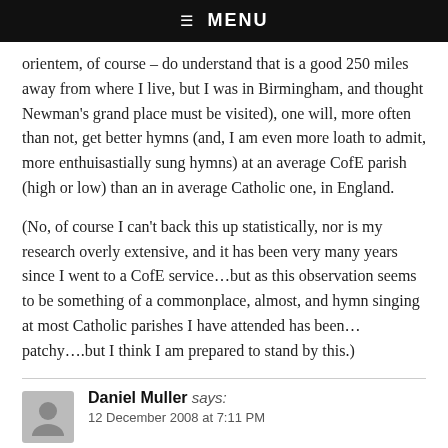☰  MENU
orientem, of course – do understand that is a good 250 miles away from where I live, but I was in Birmingham, and thought Newman's grand place must be visited), one will, more often than not, get better hymns (and, I am even more loath to admit, more enthuisastially sung hymns) at an average CofE parish (high or low) than an in average Catholic one, in England.
(No, of course I can't back this up statistically, nor is my research overly extensive, and it has been very many years since I went to a CofE service…but as this observation seems to be something of a commonplace, almost, and hymn singing at most Catholic parishes I have attended has been… patchy….but I think I am prepared to stand by this.)
Daniel Muller says:
12 December 2008 at 7:11 PM